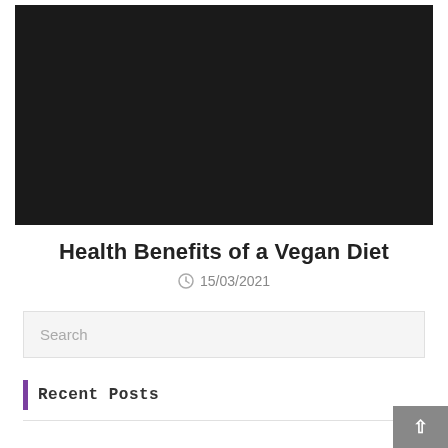[Figure (photo): Large dark/black hero image at the top of the page]
Health Benefits of a Vegan Diet
15/03/2021
Search
Recent Posts